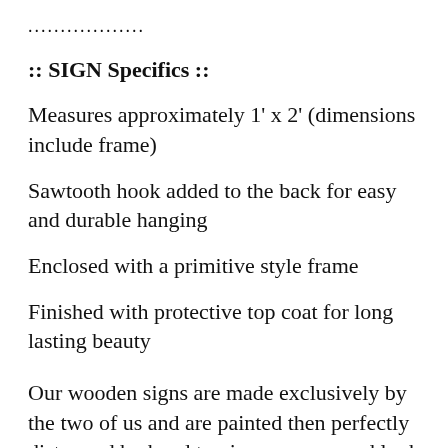..................
:: SIGN Specifics ::
Measures approximately 1' x 2' (dimensions include frame)
Sawtooth hook added to the back for easy and durable hanging
Enclosed with a primitive style frame
Finished with protective top coat for long lasting beauty
Our wooden signs are made exclusively by the two of us and are painted then perfectly distressed by hand to give a worn, aged look and feel. Every piece of wood we